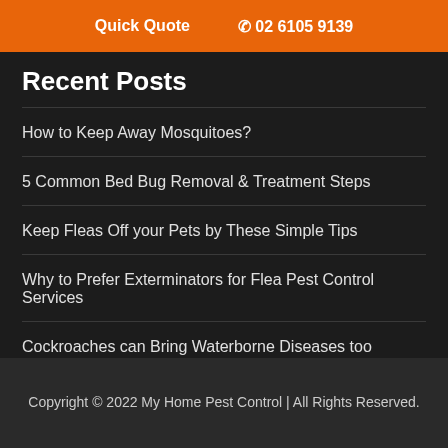Quick Quote  ☎ 02 6105 9139
Recent Posts
How to Keep Away Mosquitoes?
5 Common Bed Bug Removal & Treatment Steps
Keep Fleas Off your Pets by These Simple Tips
Why to Prefer Exterminators for Flea Pest Control Services
Cockroaches can Bring Waterborne Diseases too
Copyright © 2022 My Home Pest Control | All Rights Reserved.